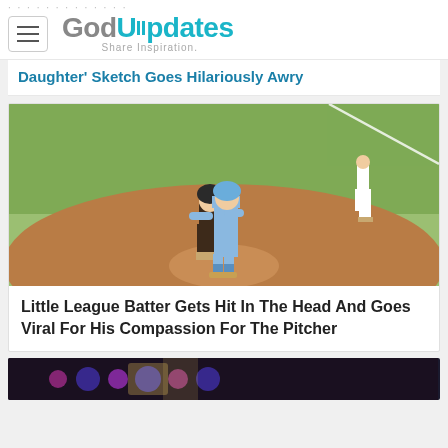GodUpdates — Share Inspiration.
Daughter' Sketch Goes Hilariously Awry
[Figure (photo): Two youth softball players on a pitching mound, one in a light blue uniform hugging the other in a dark uniform who is covering their face. A third player stands in the background on the grass. Sunny day, dirt infield visible.]
Little League Batter Gets Hit In The Head And Goes Viral For His Compassion For The Pitcher
[Figure (photo): Partial bottom image, appears to show a person under colorful stage lighting (blue and purple).]